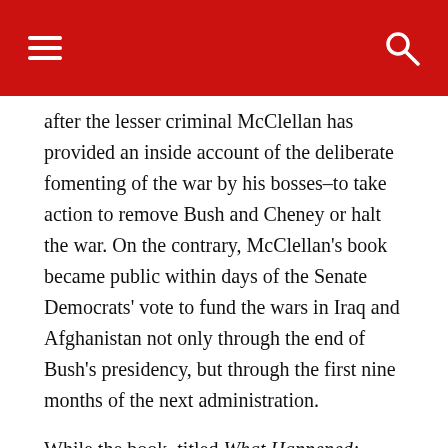after the lesser criminal McClellan has provided an inside account of the deliberate fomenting of the war by his bosses–to take action to remove Bush and Cheney or halt the war. On the contrary, McClellan's book became public within days of the Senate Democrats' vote to fund the wars in Iraq and Afghanistan not only through the end of Bush's presidency, but through the first nine months of the next administration.
While the book, titled What Happened: Inside the Bush White House and Washington's Culture of Deception, is to be published next week, substantial excerpts were reported in the press on Wednesday.
McClellan calls the Iraq war a “serious strategic blunder” and insists that if Bush had had a “crystal ball” and could have foreseen the costs in terms of casualties and destruction, he